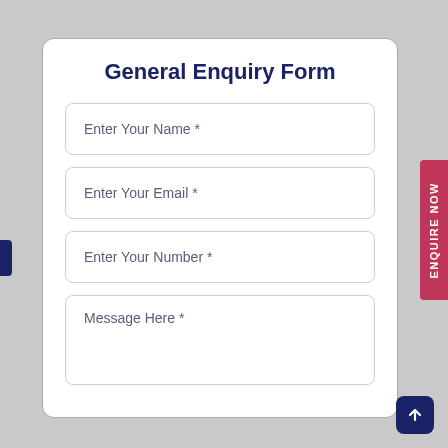General Enquiry Form
Enter Your Name *
Enter Your Email *
Enter Your Number *
Message Here *